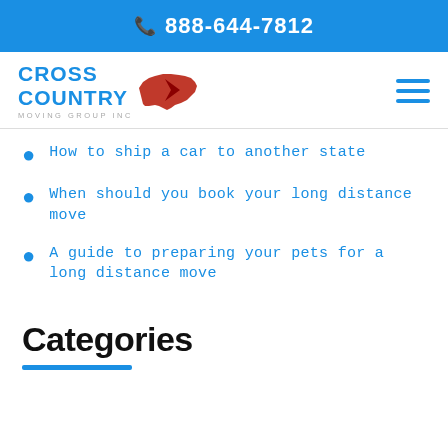888-644-7812
[Figure (logo): Cross Country Moving Group Inc logo with red USA map silhouette and blue text]
How to ship a car to another state
When should you book your long distance move
A guide to preparing your pets for a long distance move
Categories